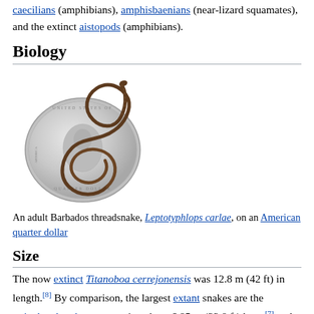caecilians (amphibians), amphisbaenians (near-lizard squamates), and the extinct aistopods (amphibians).
Biology
[Figure (photo): A small threadsnake coiled on top of an American quarter dollar coin, showing how tiny it is relative to the coin.]
An adult Barbados threadsnake, Leptotyphlops carlae, on an American quarter dollar
Size
The now extinct Titanoboa cerrejonensis was 12.8 m (42 ft) in length.[8] By comparison, the largest extant snakes are the reticulated python, measuring about 6.95 m (22.8 ft) long,[7] and the green anaconda, which measures about 5.21 m (17.1 ft) long